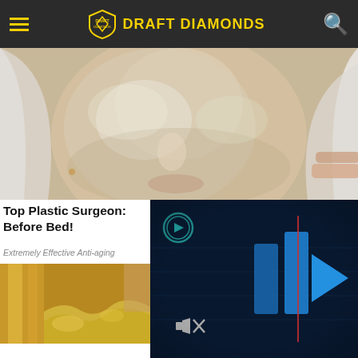Draft Diamonds
[Figure (photo): Close-up of a person's face with a peeling or gel face mask being removed, skin looks moisturized]
Top Plastic Surgeon: Before Bed!
Extremely Effective Anti-aging
[Figure (screenshot): Video player overlay on dark blue background showing blue geometric play button shapes and a mute icon]
[Figure (photo): Close-up of gold metallic objects with crinkled gold foil texture at bottom]